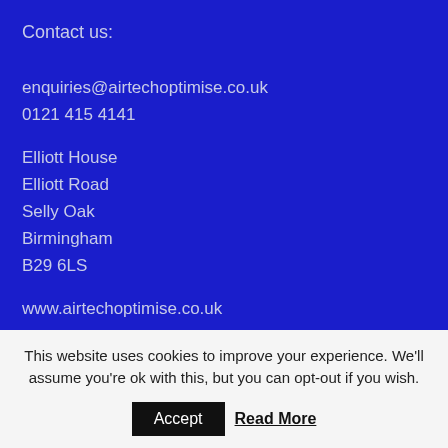Contact us:
enquiries@airtechoptimise.co.uk
0121 415 4141
Elliott House
Elliott Road
Selly Oak
Birmingham
B29 6LS
www.airtechoptimise.co.uk
This website uses cookies to improve your experience. We'll assume you're ok with this, but you can opt-out if you wish.
Accept
Read More